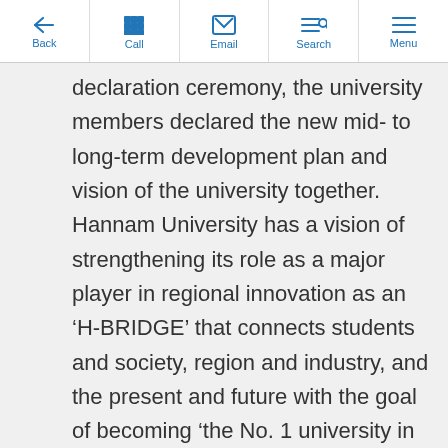Back | Call | Email | Search | Menu
declaration ceremony, the university members declared the new mid- to long-term development plan and vision of the university together. Hannam University has a vision of strengthening its role as a major player in regional innovation as an ‘H-BRIDGE’ that connects students and society, region and industry, and the present and future with the goal of becoming ‘the No. 1 university in educational satisfaction that leads regional innovation’. declared The new mid- to long-term